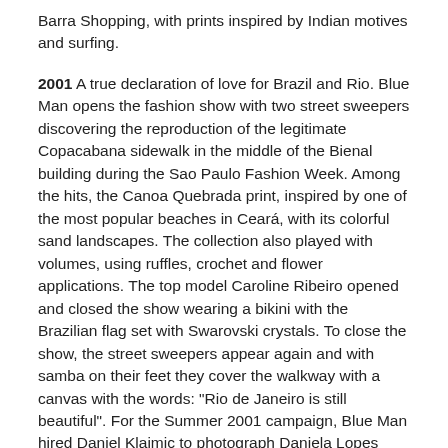Barra Shopping, with prints inspired by Indian motives and surfing.
2001 A true declaration of love for Brazil and Rio. Blue Man opens the fashion show with two street sweepers discovering the reproduction of the legitimate Copacabana sidewalk in the middle of the Bienal building during the Sao Paulo Fashion Week. Among the hits, the Canoa Quebrada print, inspired by one of the most popular beaches in Ceará, with its colorful sand landscapes. The collection also played with volumes, using ruffles, crochet and flower applications. The top model Caroline Ribeiro opened and closed the show wearing a bikini with the Brazilian flag set with Swarovski crystals. To close the show, the street sweepers appear again and with samba on their feet they cover the walkway with a canvas with the words: "Rio de Janeiro is still beautiful". For the Summer 2001 campaign, Blue Man hired Daniel Klajmic to photograph Daniela Lopes with the Canoa Quebrada bikini at Praia do Pepê.
2002 The Conscious Trickster. In a tribute to the heroes of the sea, David Azulay brought 28 lifeguards directly from the